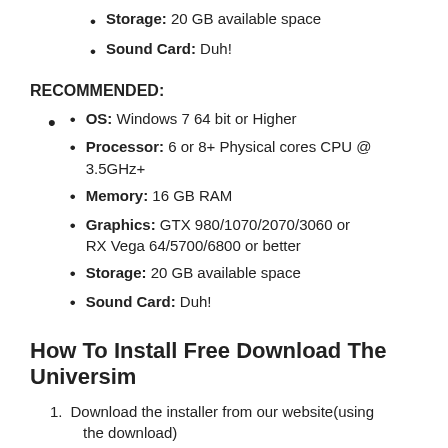Storage: 20 GB available space
Sound Card: Duh!
RECOMMENDED:
OS: Windows 7 64 bit or Higher
Processor: 6 or 8+ Physical cores CPU @ 3.5GHz+
Memory: 16 GB RAM
Graphics: GTX 980/1070/2070/3060 or RX Vega 64/5700/6800 or better
Storage: 20 GB available space
Sound Card: Duh!
How To Install Free Download The Universim
Download the installer from our website(using the download)
Then run the”.exe”and start to install the game